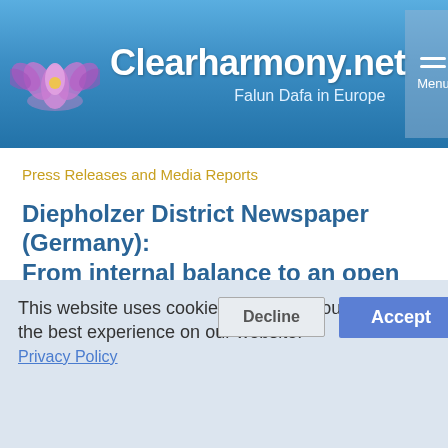[Figure (logo): Clearharmony.net website header with lotus flower logo, site title 'Clearharmony.net', subtitle 'Falun Dafa in Europe', and a hamburger menu button on a blue gradient background]
Press Releases and Media Reports
Diepholzer District Newspaper (Germany): From internal balance to an open protest
2005-08-22
This website uses cookies to ensure you get the best experience on our website.
Privacy Policy